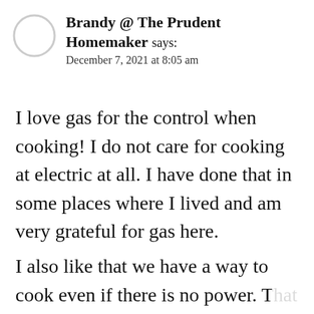[Figure (illustration): Light gray circle avatar placeholder]
Brandy @ The Prudent Homemaker says:
December 7, 2021 at 8:05 am
I love gas for the control when cooking! I do not care for cooking at electric at all. I have done that in some places where I lived and am very grateful for gas here.
I also like that we have a way to cook even if there is no power. That has been